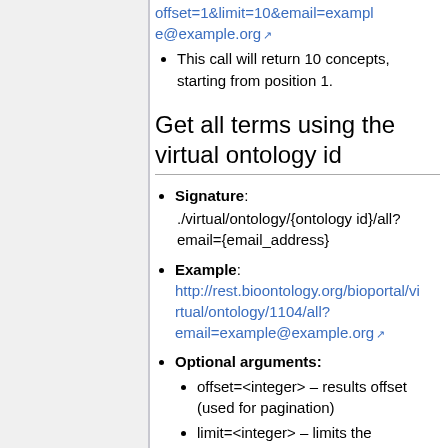offset=1&limit=10&email=example@example.org [link]
This call will return 10 concepts, starting from position 1.
Get all terms using the virtual ontology id
Signature: ./virtual/ontology/{ontology id}/all?email={email_address}
Example: http://rest.bioontology.org/bioportal/virtual/ontology/1104/all?email=example@example.org [link]
Optional arguments:
offset=<integer> – results offset (used for pagination)
limit=<integer> – limits the